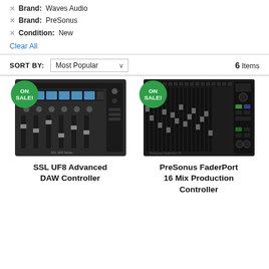Brand: Waves Audio
Brand: PreSonus
Condition: New
Clear All
SORT BY: Most Popular   6 Items
[Figure (photo): SSL UF8 Advanced DAW Controller hardware photo with ON SALE badge]
[Figure (photo): PreSonus FaderPort 16 Mix Production Controller hardware photo with ON SALE badge]
SSL UF8 Advanced DAW Controller
PreSonus FaderPort 16 Mix Production Controller